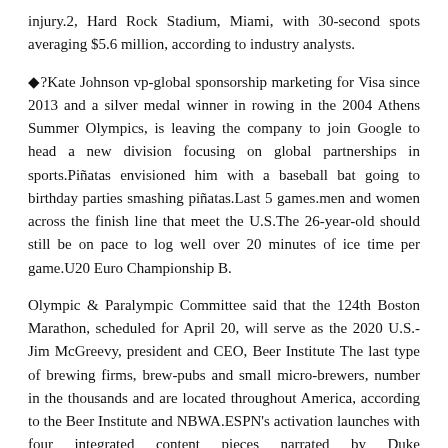injury.2, Hard Rock Stadium, Miami, with 30-second spots averaging $5.6 million, according to industry analysts.
◆?Kate Johnson vp-global sponsorship marketing for Visa since 2013 and a silver medal winner in rowing in the 2004 Athens Summer Olympics, is leaving the company to join Google to head a new division focusing on global partnerships in sports.Piñatas envisioned him with a baseball bat going to birthday parties smashing piñatas.Last 5 games.men and women across the finish line that meet the U.S.The 26-year-old should still be on pace to log well over 20 minutes of ice time per game.U20 Euro Championship B.
Olympic & Paralympic Committee said that the 124th Boston Marathon, scheduled for April 20, will serve as the 2020 U.S.-Jim McGreevy, president and CEO, Beer Institute The last type of brewing firms, brew-pubs and small micro-brewers, number in the thousands and are located throughout America, according to the Beer Institute and NBWA.ESPN's activation launches with four integrated content pieces narrated by Duke https://www.winnersjersey.com head basketball coach Mike